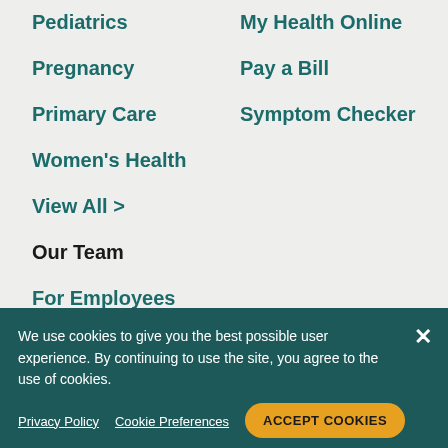Pediatrics
My Health Online
Pregnancy
Pay a Bill
Primary Care
Symptom Checker
Women's Health
View All >
Our Team
For Employees
Physician Careers
We use cookies to give you the best possible user experience. By continuing to use the site, you agree to the use of cookies.
Privacy Policy
Cookie Preferences
ACCEPT COOKIES